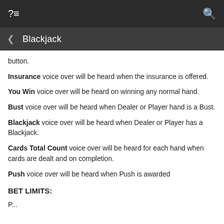?≡   Blackjack
button.
Insurance voice over will be heard when the insurance is offered.
You Win voice over will be heard on winning any normal hand.
Bust voice over will be heard when Dealer or Player hand is a Bust.
Blackjack voice over will be heard when Dealer or Player has a Blackjack.
Cards Total Count voice over will be heard for each hand when cards are dealt and on completion.
Push voice over will be heard when Push is awarded
BET LIMITS:
P...